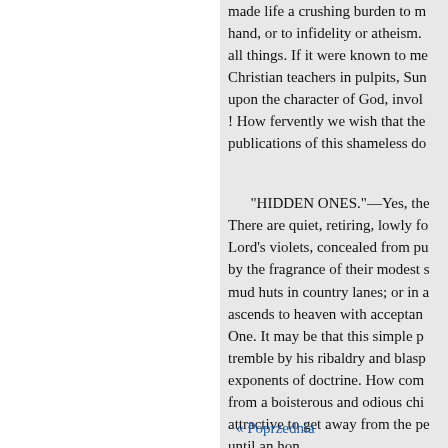made life a crushing burden to m hand, or to infidelity or atheism. all things. If it were known to me Christian teachers in pulpits, Sun upon the character of God, invol ! How fervently we wish that the publications of this shameless do
"HIDDEN ONES."—Yes, the There are quiet, retiring, lowly fo Lord's violets, concealed from pu by the fragrance of their modest s mud huts in country lanes; or in a ascends to heaven with acceptan One. It may be that this simple p tremble by his ribaldry and blasp exponents of doctrine. How com from a boisterous and odious chi attractive to get away from the pe until an hon
« Poprzednia